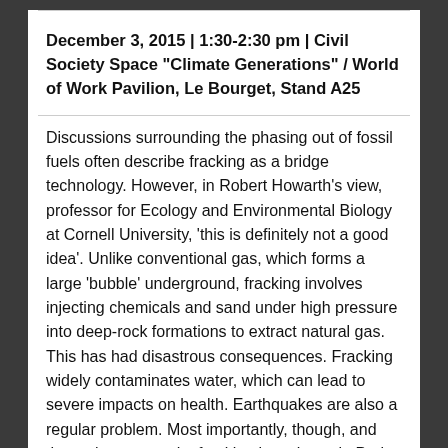December 3, 2015 | 1:30-2:30 pm | Civil Society Space "Climate Generations" / World of Work Pavilion, Le Bourget, Stand A25
Discussions surrounding the phasing out of fossil fuels often describe fracking as a bridge technology. However, in Robert Howarth's view, professor for Ecology and Environmental Biology at Cornell University, 'this is definitely not a good idea'. Unlike conventional gas, which forms a large 'bubble' underground, fracking involves injecting chemicals and sand under high pressure into deep-rock formations to extract natural gas. This has had disastrous consequences. Fracking widely contaminates water, which can lead to severe impacts on health. Earthquakes are also a regular problem. Most importantly, though, and the main reason why fracking is an issue in Paris, is the fact